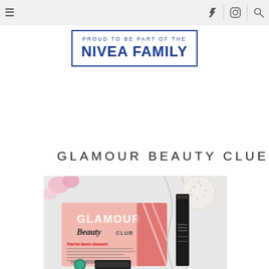Navigation bar with hamburger menu, Twitter icon, Instagram icon, search icon
[Figure (illustration): NIVEA FAMILY branded banner with blue border reading 'PROUD TO BE PART OF THE NIVEA FAMILY']
GLAMOUR BEAUTY CLUB
[Figure (photo): Photo of Glamour Beauty Club card and cosmetics including lipstick on marble surface with pink flowers]